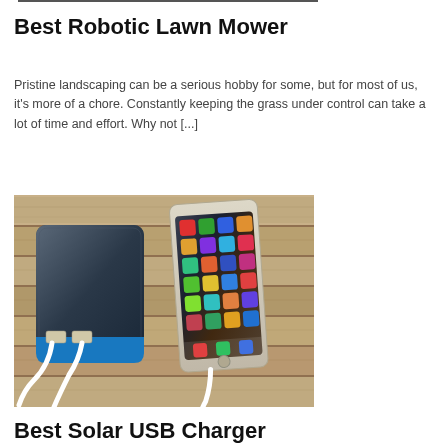Best Robotic Lawn Mower
Pristine landscaping can be a serious hobby for some, but for most of us, it's more of a chore. Constantly keeping the grass under control can take a lot of time and effort. Why not [...]
[Figure (photo): A dark blue/grey portable power bank with blue trim sitting on wooden planks, connected via white USB cables to a smartphone displaying a colorful app grid on its screen.]
Best Solar USB Charger